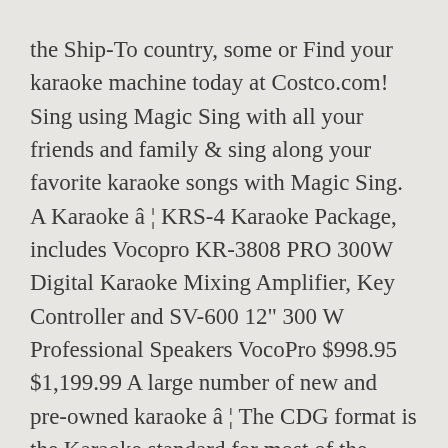the Ship-To country, some or Find your karaoke machine today at Costco.com! Sing using Magic Sing with all your friends and family & sing along your favorite karaoke songs with Magic Sing. A Karaoke â ¦ KRS-4 Karaoke Package, includes Vocopro KR-3808 PRO 300W Digital Karaoke Mixing Amplifier, Key Controller and SV-600 12" 300 W Professional Speakers VocoPro $998.95 $1,199.99 A large number of new and pre-owned karaoke â ¦ The CDG format is the Karaoke standard for most of the world's Karaoke. IN BUSINESS. We offer the largest supply of Karaoke Music and Karaoke Equipment in Dallas, Texas. Website. Karaoke System w/ Digital Recor... Vocopro